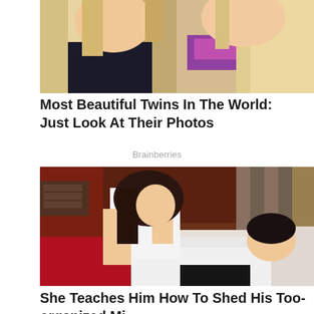[Figure (photo): Partial photo of two blonde women, cropped at the top, showing faces and upper bodies with colorful accessories]
Most Beautiful Twins In The World: Just Look At Their Photos
Brainberries
[Figure (photo): A woman in a white tank top leaning over a man in a white dress shirt who is lying on a bed, from a TV show scene]
She Teaches Him How To Shed His Too-organized Mi...